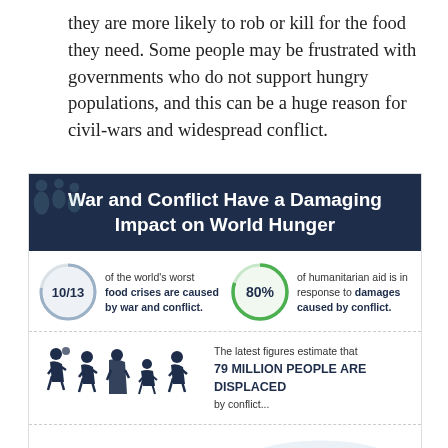they are more likely to rob or kill for the food they need. Some people may be frustrated with governments who do not support hungry populations, and this can be a huge reason for civil-wars and widespread conflict.
[Figure (infographic): Infographic titled 'War and Conflict Have a Damaging Impact on World Hunger'. Contains three stat sections: (1) 10/13 of the world's worst food crises are caused by war and conflict; (2) 80% of humanitarian aid is in response to damages caused by conflict; (3) The latest figures estimate that 79 MILLION PEOPLE ARE DISPLACED by conflict...; (4) Two icon graphics at the bottom showing displaced people cycling and a world map with dotted migration routes.]